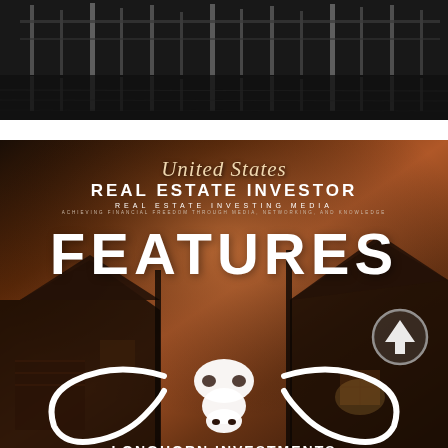[Figure (photo): Black and white photo of stanchions or posts reflected in water, dark moody image at top of page]
[Figure (photo): Full-page advertisement for Longhorn Investments featured in United States Real Estate Investor magazine. Background shows a craftsman-style house with dark wooden beams at dusk. Overlaid text includes 'United States Real Estate Investor - Real Estate Investing Media - Achieving Financial Freedom Through Media, Networking, and Knowledge - FEATURES' with the Longhorn Investments logo (longhorn skull) and company name at the bottom. An upward arrow circle icon appears on the right side.]